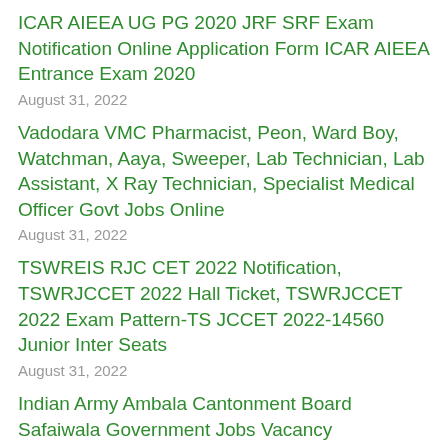ICAR AIEEA UG PG 2020 JRF SRF Exam Notification Online Application Form ICAR AIEEA Entrance Exam 2020
August 31, 2022
Vadodara VMC Pharmacist, Peon, Ward Boy, Watchman, Aaya, Sweeper, Lab Technician, Lab Assistant, X Ray Technician, Specialist Medical Officer Govt Jobs Online
August 31, 2022
TSWREIS RJC CET 2022 Notification, TSWRJCCET 2022 Hall Ticket, TSWRJCCET 2022 Exam Pattern-TS JCCET 2022-14560 Junior Inter Seats
August 31, 2022
Indian Army Ambala Cantonment Board Safaiwala Government Jobs Vacancy Recruitment Notification 2020
August 31, 2022
Uttar Pradesh UPPSC Librarian Recruitment 2021 87 Govt Jobs Online Application Form